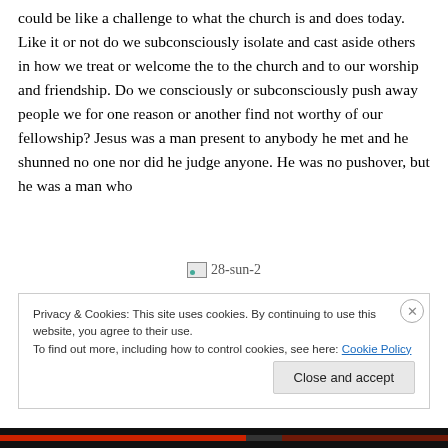could be like a challenge to what the church is and does today. Like it or not do we subconsciously isolate and cast aside others in how we treat or welcome the to the church and to our worship and friendship. Do we consciously or subconsciously push away people we for one reason or another find not worthy of our fellowship? Jesus was a man present to anybody he met and he shunned no one nor did he judge anyone. He was no pushover, but he was a man who
[Figure (photo): Broken image placeholder labeled '28-sun-2']
Privacy & Cookies: This site uses cookies. By continuing to use this website, you agree to their use.
To find out more, including how to control cookies, see here: Cookie Policy
Close and accept